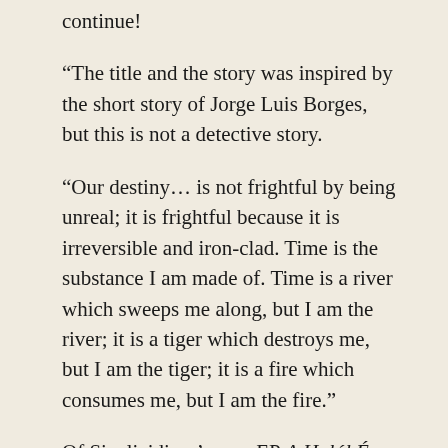continue!
“The title and the story was inspired by the short story of Jorge Luis Borges, but this is not a detective story.
“Our destiny… is not frightful by being unreal; it is frightful because it is irreversible and iron-clad. Time is the substance I am made of. Time is a river which sweeps me along, but I am the river; it is a tiger which destroys me, but I am the tiger; it is a fire which consumes me, but I am the fire.”
Of Siculicidium’s new EP A Halál És Az Iránytű is yet another step into the mysticism and danger of Eastern European hinterlands. The two-track EP is only available as a 7-inch (and streaming here) from long-time label Sun & Moon Records (see below for the link). Continuing the new chapter...